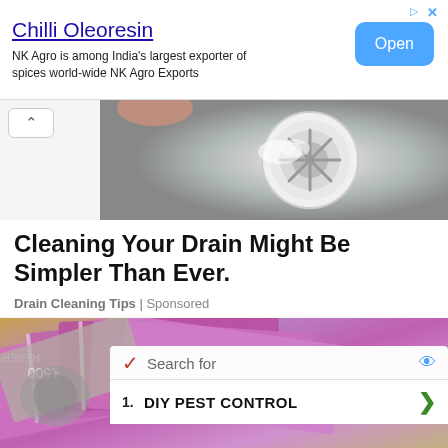[Figure (infographic): Advertisement banner for Chilli Oleoresin by NK Agro Exports with Open button]
Chilli Oleoresin
NK Agro is among India's largest exporter of spices world-wide NK Agro Exports
[Figure (photo): Close-up photo of a white sink drain with water]
Cleaning Your Drain Might Be Simpler Than Ever.
Drain Cleaning Tips | Sponsored
[Figure (photo): Photo of Indian rupee banknotes spread out]
Search for
1. DIY PEST CONTROL
2. COMPARE HEALTH INSURANCE
Ad | Business Focus